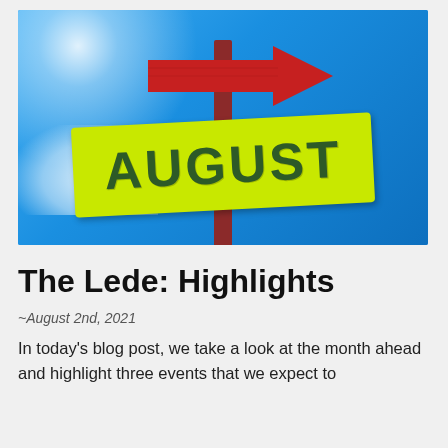[Figure (photo): Photo of a wooden sign post with a yellow-green painted board reading 'AUGUST' in large dark green letters, and a red arrow sign pointing right above it, against a bright blue sky with white clouds and sunlight rays.]
The Lede: Highlights
~August 2nd, 2021
In today's blog post, we take a look at the month ahead and highlight three events that we expect to